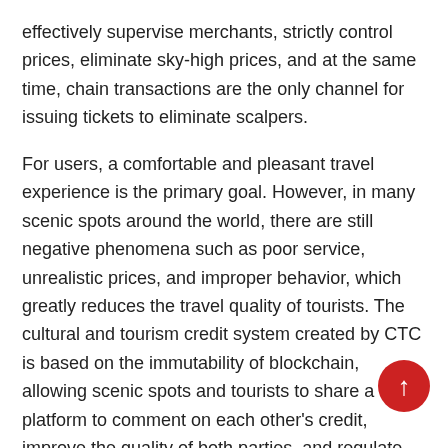effectively supervise merchants, strictly control prices, eliminate sky-high prices, and at the same time, chain transactions are the only channel for issuing tickets to eliminate scalpers.
For users, a comfortable and pleasant travel experience is the primary goal. However, in many scenic spots around the world, there are still negative phenomena such as poor service, unrealistic prices, and improper behavior, which greatly reduces the travel quality of tourists. The cultural and tourism credit system created by CTC is based on the immutability of blockchain, allowing scenic spots and tourists to share a platform to comment on each other's credit, improve the quality of both parties, and regulate each other's behavior.